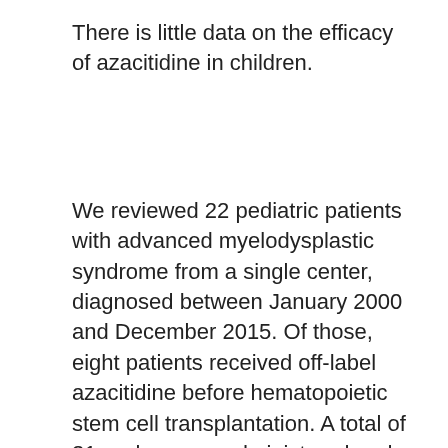There is little data on the efficacy of azacitidine in children.
We reviewed 22 pediatric patients with advanced myelodysplastic syndrome from a single center, diagnosed between January 2000 and December 2015. Of those, eight patients received off-label azacitidine before hematopoietic stem cell transplantation. A total of 31 cycles were administered and modification or delay occurred in four of them due to cytopenias, infection